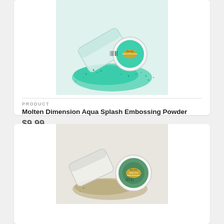[Figure (photo): Photo of Molten Dimension Aqua Splash Embossing Powder jar tipped over with teal/aqua glitter powder spilling out on a white background]
PRODUCT
Molten Dimension Aqua Splash Embossing Powder
$9.99
[Figure (photo): Photo of Molten Dimensions Golden Hue embossing powder jar tipped over with tan/gold powder spilling out on a light background]